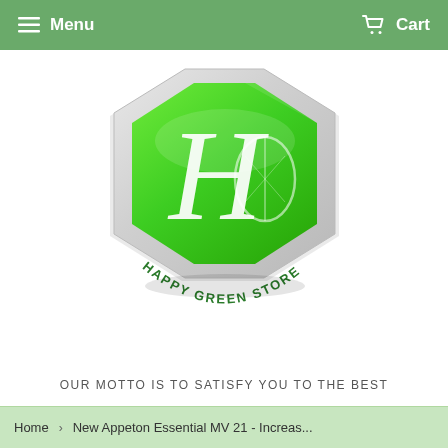Menu   Cart
[Figure (logo): Happy Green Store logo: an octagonal silver-bordered green badge with an ornate cursive 'H' monogram and a leaf design, with 'HAPPY GREEN STORE' text arched along the bottom]
OUR MOTTO IS TO SATISFY YOU TO THE BEST
Home > New Appeton Essential MV 21 - Increas...